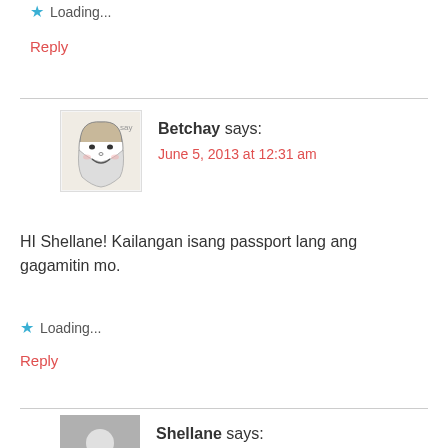Loading...
Reply
Betchay says: June 5, 2013 at 12:31 am
HI Shellane! Kailangan isang passport lang ang gagamitin mo.
Loading...
Reply
Shellane says: June 5, 2013 at 12:47 am